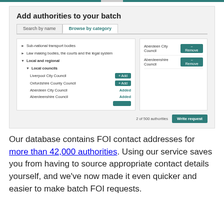[Figure (screenshot): Screenshot of a web interface titled 'Add authorities to your batch' showing a Browse by category tab with a left panel listing categories (Sub-national transport bodies, Law making bodies the courts and the legal system, Local and regional > Local councils with Liverpool City Council, Oxfordshire County Council, Aberdeen City Council [Added], Aberdeenshire Council [Added]) and a right panel showing Aberdeen City Council and Aberdeenshire Council with Remove buttons. Bottom shows '2 of 500 authorities' and 'Write request' button.]
Our database contains FOI contact addresses for more than 42,000 authorities. Using our service saves you from having to source appropriate contact details yourself, and we've now made it even quicker and easier to make batch FOI requests.